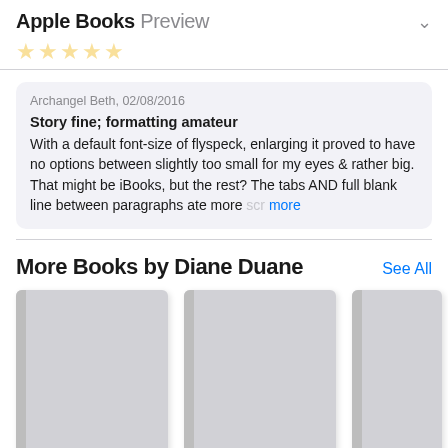Apple Books Preview
Archangel Beth, 02/08/2016
Story fine; formatting amateur
With a default font-size of flyspeck, enlarging it proved to have no options between slightly too small for my eyes & rather big. That might be iBooks, but the rest? The tabs AND full blank line between paragraphs ate more scr more
More Books by Diane Duane
[Figure (illustration): Two book cover thumbnails (placeholder grey rectangles) partially visible, representing books by Diane Duane]